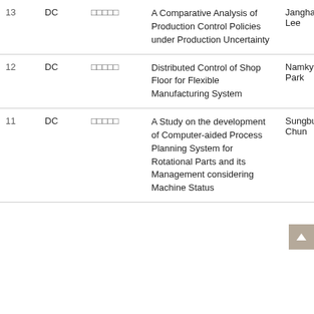| No. | Type | Code | Title | Author |
| --- | --- | --- | --- | --- |
| 13 | DC | □□□□□ | A Comparative Analysis of Production Control Policies under Production Uncertainty | Janghan Lee |
| 12 | DC | □□□□□ | Distributed Control of Shop Floor for Flexible Manufacturing System | Namkyu Park |
| 11 | DC | □□□□□ | A Study on the development of Computer-aided Process Planning System for Rotational Parts and its Management considering Machine Status | Sungbum Chun |